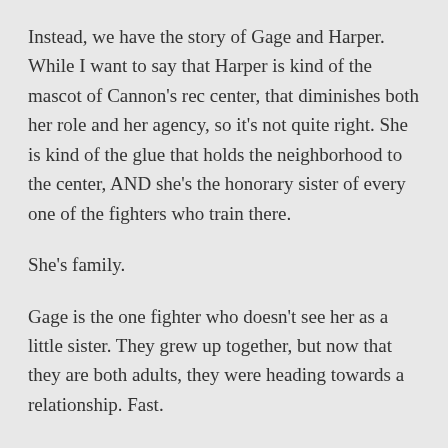Instead, we have the story of Gage and Harper. While I want to say that Harper is kind of the mascot of Cannon's rec center, that diminishes both her role and her agency, so it's not quite right. She is kind of the glue that holds the neighborhood to the center, AND she's the honorary sister of every one of the fighters who train there.
She's family.
Gage is the one fighter who doesn't see her as a little sister. They grew up together, but now that they are both adults, they were heading towards a relationship. Fast.
Until Gage went to another camp to train for an important fight, and wasn't the least bit clear about his feelings for Harper or his intentions when he